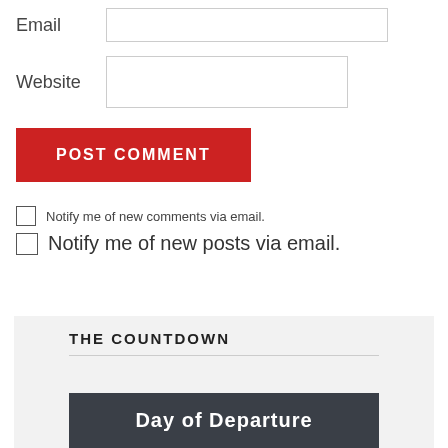Email
Website
POST COMMENT
Notify me of new comments via email.
Notify me of new posts via email.
THE COUNTDOWN
Day of Departure